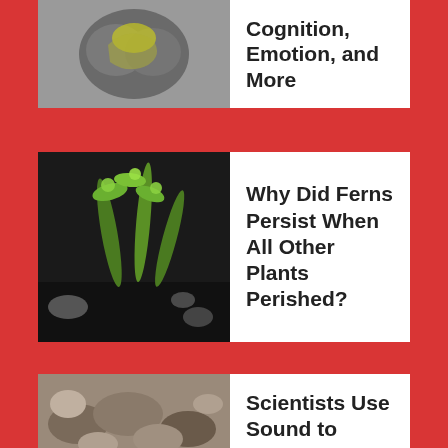[Figure (photo): Partial view of a brain illustration - article thumbnail, cropped at top]
Cognition, Emotion, and More
[Figure (photo): Young green fern shoots sprouting from dark soil/charred ground]
Why Did Ferns Persist When All Other Plants Perished?
[Figure (photo): Oysters on a reef]
Scientists Use Sound to Attract Baby Oysters Back to the Reef
STAY CONNECTED WITH The Scientist
[Figure (screenshot): Tablet showing The Scientist website]
Get The Scientist Daily, the free daily newsletter from The Scientist
Sign up for our free newsletter